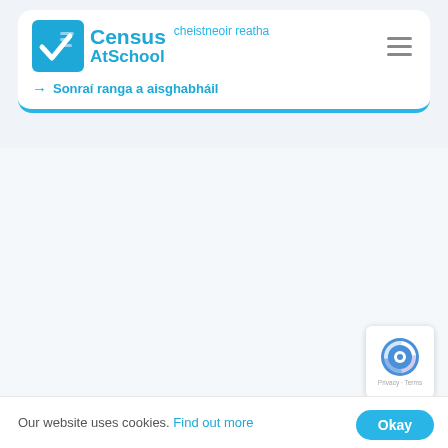Census AtSchool — Ceistneoir reatha | Sonraí ranga a aisghabháil
Our website uses cookies. Find out more
[Figure (screenshot): Census AtSchool website screenshot showing navigation card with logo, Irish language navigation links, empty main content area, reCAPTCHA badge, and cookie consent bar with Okay button.]